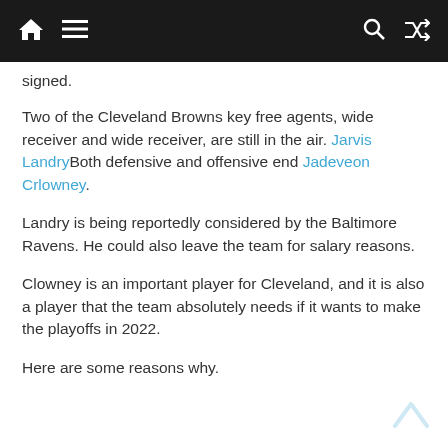[navigation bar with home, menu, search, shuffle icons]
signed.
Two of the Cleveland Browns key free agents, wide receiver and wide receiver, are still in the air. Jarvis LandryBoth defensive and offensive end Jadeveon Crlowney.
Landry is being reportedly considered by the Baltimore Ravens. He could also leave the team for salary reasons.
Clowney is an important player for Cleveland, and it is also a player that the team absolutely needs if it wants to make the playoffs in 2022.
Here are some reasons why.